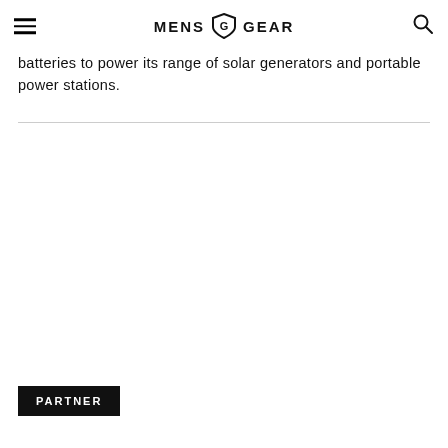MENS GEAR
batteries to power its range of solar generators and portable power stations.
PARTNER